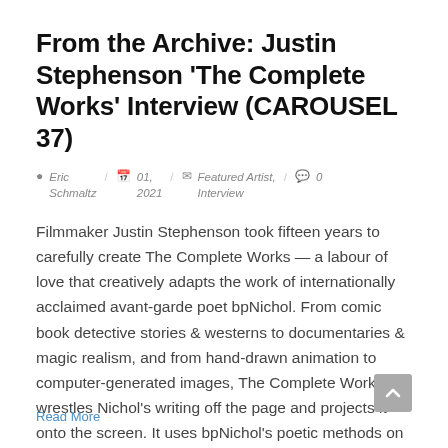From the Archive: Justin Stephenson ‘The Complete Works’ Interview (CAROUSEL 37)
Eric Schmaltz  /  01, 2021  /  Featured Artist, Interview  /  0
Filmmaker Justin Stephenson took fifteen years to carefully create The Complete Works — a labour of love that creatively adapts the work of internationally acclaimed avant-garde poet bpNichol. From comic book detective stories & westerns to documentaries & magic realism, and from hand-drawn animation to computer-generated images, The Complete Works wrestles Nichol’s writing off the page and projects it onto the screen. It uses bpNichol’s poetic methods on Nichol himself to create a film that